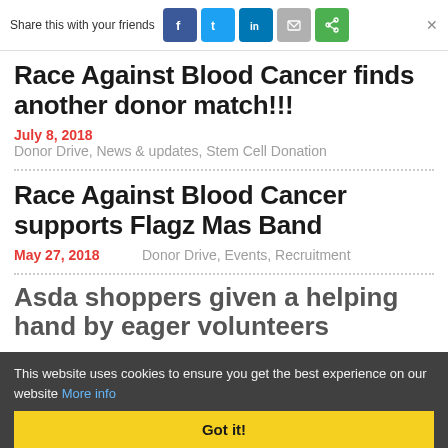Share this with your friends
Race Against Blood Cancer finds another donor match!!!
July 8, 2018    Donor Drive, News & updates, Stem Cell Donation
Race Against Blood Cancer supports Flagz Mas Band
May 27, 2018    Donor Drive, Events, Recruitment
Asda shoppers given a helping hand by eager volunteers
This website uses cookies to ensure you get the best experience on our website More info